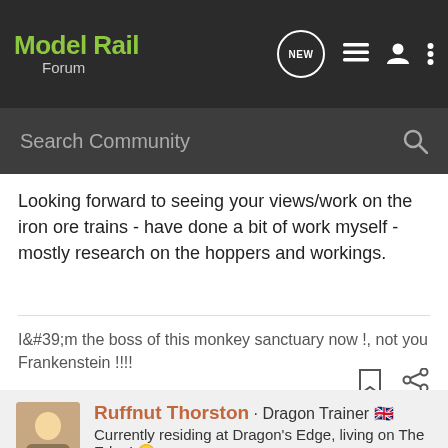ModelRail Forum
Search Community
Looking forward to seeing your views/work on the iron ore trains - have done a bit of work myself - mostly research on the hoppers and workings.
I&#39;m the boss of this monkey sanctuary now !, not you Frankenstein !!!!
Ruffnut Thorston · Dragon Trainer 🇬🇧
Currently residing at Dragon's Edge, living on The Edge! 😊
Joined Nov 24, 2008 · 1,300 Posts